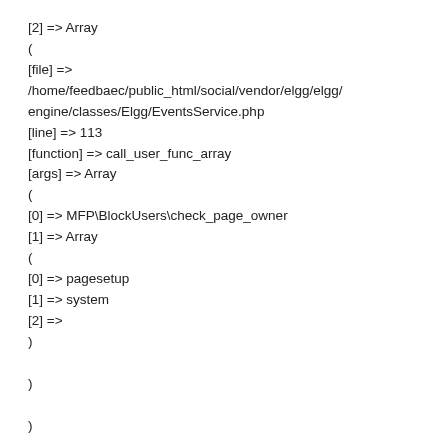[2] => Array
(
[file] =>
/home/feedbaec/public_html/social/vendor/elgg/elgg/engine/classes/Elgg/EventsService.php
[line] => 113
[function] => call_user_func_array
[args] => Array
(
[0] => MFP\BlockUsers\check_page_owner
[1] => Array
(
[0] => pagesetup
[1] => system
[2] =>
)

)

)